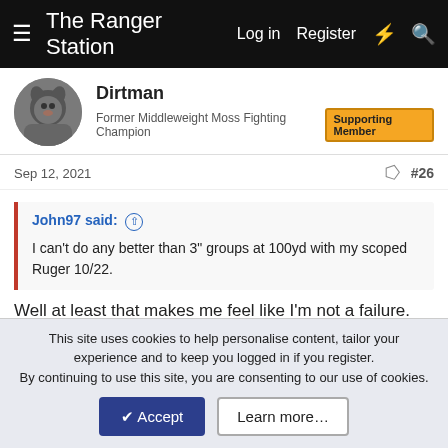The Ranger Station — Log in  Register
Dirtman
Former Middleweight Moss Fighting Champion  Supporting Member
Sep 12, 2021  #26
John97 said: ↑
I can't do any better than 3" groups at 100yd with my scoped Ruger 10/22.
Well at least that makes me feel like I'm not a failure. 🤔😐
Tried moving the targets to 50 yards but ran out of CCI mini mag and just had some uncoated tac-22 but I quickly found out the gun won't cycle the uncoated stuff. 🙄
This site uses cookies to help personalise content, tailor your experience and to keep you logged in if you register.
By continuing to use this site, you are consenting to our use of cookies.
✔ Accept   Learn more…